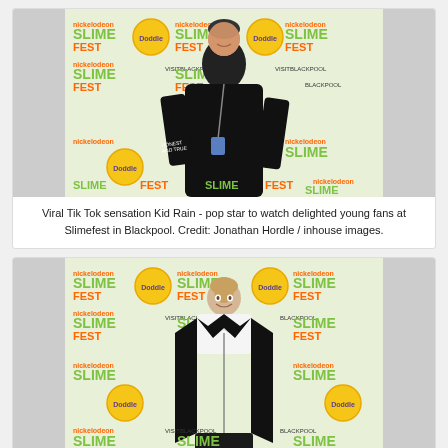[Figure (photo): Person standing in front of Nickelodeon Slime Fest branded backdrop in Blackpool, wearing black jacket with lanyard, smiling at camera.]
Viral Tik Tok sensation Kid Rain - pop star to watch delighted young fans at Slimefest in Blackpool. Credit: Jonathan Hordle / inhouse images.
[Figure (photo): Person standing in front of Nickelodeon Slime Fest branded backdrop, wearing black leather jacket and white top, smiling at camera.]